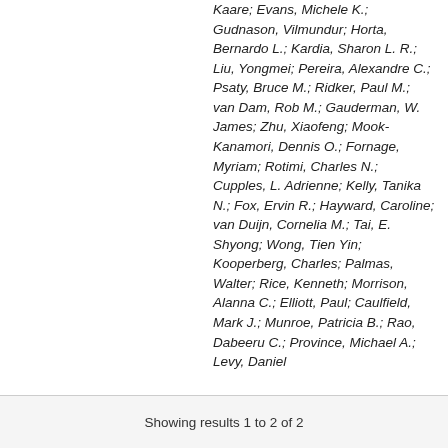Kaare; Evans, Michele K.; Gudnason, Vilmundur; Horta, Bernardo L.; Kardia, Sharon L. R.; Liu, Yongmei; Pereira, Alexandre C.; Psaty, Bruce M.; Ridker, Paul M.; van Dam, Rob M.; Gauderman, W. James; Zhu, Xiaofeng; Mook-Kanamori, Dennis O.; Fornage, Myriam; Rotimi, Charles N.; Cupples, L. Adrienne; Kelly, Tanika N.; Fox, Ervin R.; Hayward, Caroline; van Duijn, Cornelia M.; Tai, E. Shyong; Wong, Tien Yin; Kooperberg, Charles; Palmas, Walter; Rice, Kenneth; Morrison, Alanna C.; Elliott, Paul; Caulfield, Mark J.; Munroe, Patricia B.; Rao, Dabeeru C.; Province, Michael A.; Levy, Daniel
Showing results 1 to 2 of 2